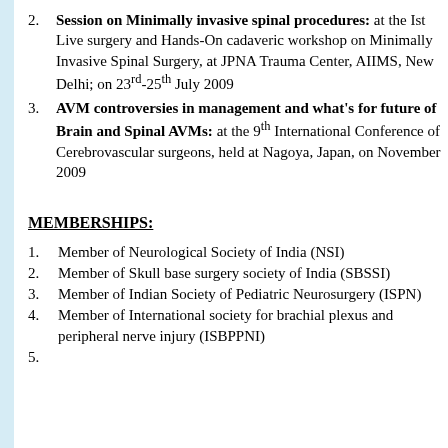2. Session on Minimally invasive spinal procedures: at the Ist Live surgery and Hands-On cadaveric workshop on Minimally Invasive Spinal Surgery, at JPNA Trauma Center, AIIMS, New Delhi; on 23rd-25th July 2009
3. AVM controversies in management and what's for future of Brain and Spinal AVMs: at the 9th International Conference of Cerebrovascular surgeons, held at Nagoya, Japan, on November 2009
MEMBERSHIPS:
1. Member of Neurological Society of India (NSI)
2. Member of Skull base surgery society of India (SBSSI)
3. Member of Indian Society of Pediatric Neurosurgery (ISPN)
4. Member of International society for brachial plexus and peripheral nerve injury (ISBPPNI)
5.